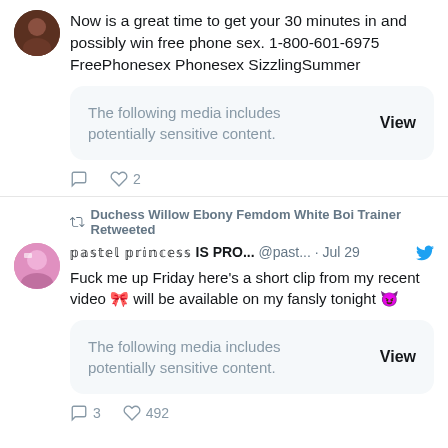Now is a great time to get your 30 minutes in and possibly win free phone sex. 1-800-601-6975 FreePhonesex Phonesex SizzlingSummer
The following media includes potentially sensitive content. View
♡ 2
Duchess Willow Ebony Femdom White Boi Trainer Retweeted
𝕡𝕒𝕤𝕥𝕖𝕝 𝕡𝕣𝕚𝕟𝕔𝕖𝕤𝕤 IS PRO... @past... · Jul 29
Fuck me up Friday here's a short clip from my recent video 🎀 will be available on my fansly tonight 😈
The following media includes potentially sensitive content. View
3  ♡ 492